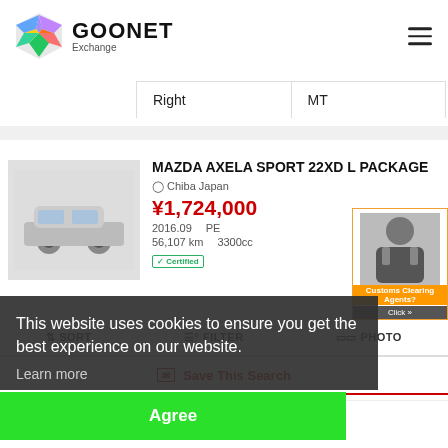[Figure (logo): GOONET Exchange logo with colorful hexagon icon and bold GOONET text]
| Right | MT |
| --- | --- |
MAZDA AXELA SPORT 22XD L PACKAGE
Chiba Japan
¥1,724,000
2016.09  PE
56,107 km  3300cc
Certified
This website uses cookies to ensure you get the best experience on our website.
Learn more
Agree
Save This Search
MAZDA AXELA SPORT 22XD L